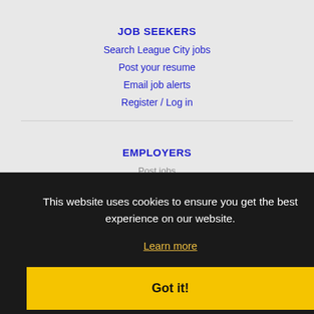JOB SEEKERS
Search League City jobs
Post your resume
Email job alerts
Register / Log in
EMPLOYERS
Post jobs
This website uses cookies to ensure you get the best experience on our website.
Learn more
Got it!
IMMIGRATION SPECIALISTS
Post jobs